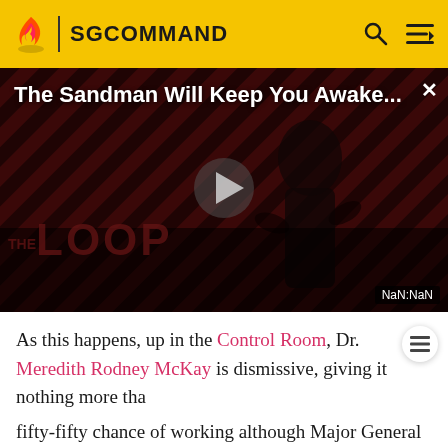SGCOMMAND
[Figure (screenshot): Video thumbnail for 'The Sandman Will Keep You Awake...' showing a dark figure against a red and black diagonal striped background, with a play button in the center, 'THE LOOP' text at the bottom, and a NaN:NaN timestamp]
As this happens, up in the Control Room, Dr. Meredith Rodney McKay is dismissive, giving it nothing more than a fifty-fifty chance of working although Major General George Hammond tells him that in the original timeline, it worked for eight years. But once the Stargate finally